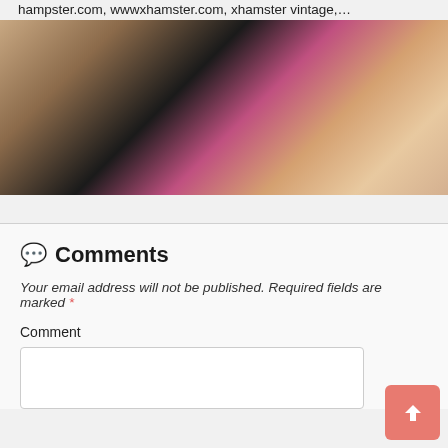hampster.com, wwwxhamster.com, xhamster vintage,...
[Figure (photo): A cropped adult content image showing skin tones with pink fabric element]
Comments
Your email address will not be published. Required fields are marked *
Comment